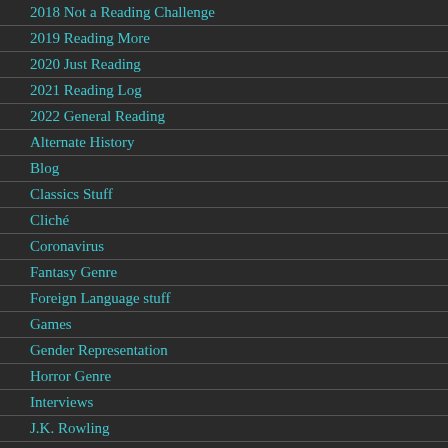2018 Not a Reading Challenge
2019 Reading More
2020 Just Reading
2021 Reading Log
2022 General Reading
Alternate History
Blog
Classics Stuff
Cliché
Coronavirus
Fantasy Genre
Foreign Language stuff
Games
Gender Representation
Horror Genre
Interviews
J.K. Rowling
Law stuff
Martin Essays
Medieval and Early Modern Literature
Old Phuul
Philosophy
Poetry
Politics